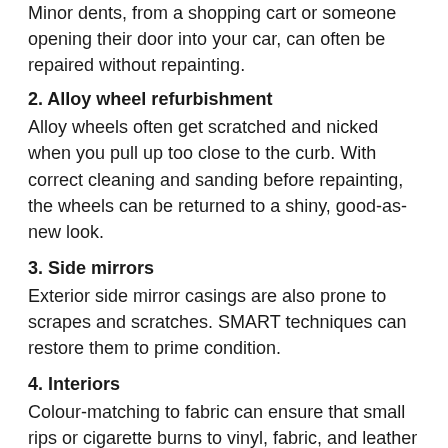Minor dents, from a shopping cart or someone opening their door into your car, can often be repaired without repainting.
2. Alloy wheel refurbishment
Alloy wheels often get scratched and nicked when you pull up too close to the curb. With correct cleaning and sanding before repainting, the wheels can be returned to a shiny, good-as-new look.
3. Side mirrors
Exterior side mirror casings are also prone to scrapes and scratches. SMART techniques can restore them to prime condition.
4. Interiors
Colour-matching to fabric can ensure that small rips or cigarette burns to vinyl, fabric, and leather seats are repaired almost invisibly. The repairs can also prevent small imperfections from turning into something major. Holes on the dashboard caused by the removal of cellphone and GPS cradles can also be repaired, as can minor damage to carpets.
5. Windshield chips
A bit of cleaning, a bit of resin, and a bit of polishing, and presto! Your small windshield ding is gone.